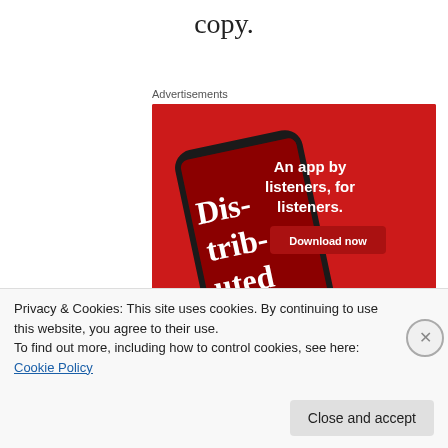copy.
Advertisements
[Figure (screenshot): Advertisement banner with red background showing a smartphone displaying a podcast app with text 'Dis-trib-uted' and tagline 'An app by listeners, for listeners.' with a 'Download now' button]
Privacy & Cookies: This site uses cookies. By continuing to use this website, you agree to their use.
To find out more, including how to control cookies, see here: Cookie Policy
Close and accept